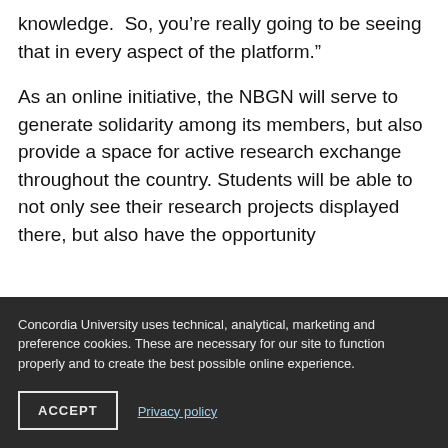knowledge.  So, you’re really going to be seeing that in every aspect of the platform.”
As an online initiative, the NBGN will serve to generate solidarity among its members, but also provide a space for active research exchange throughout the country. Students will be able to not only see their research projects displayed there, but also have the opportunity
Concordia University uses technical, analytical, marketing and preference cookies. These are necessary for our site to function properly and to create the best possible online experience.
ACCEPT
Privacy policy